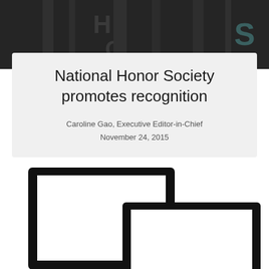[Figure (photo): Dark background header image with large letters H, O, R, S visible in light/neon styling]
National Honor Society promotes recognition
Caroline Gao, Executive Editor-in-Chief
November 24, 2015
[Figure (illustration): Black silhouette illustration of a desktop monitor and a laptop computer side by side]